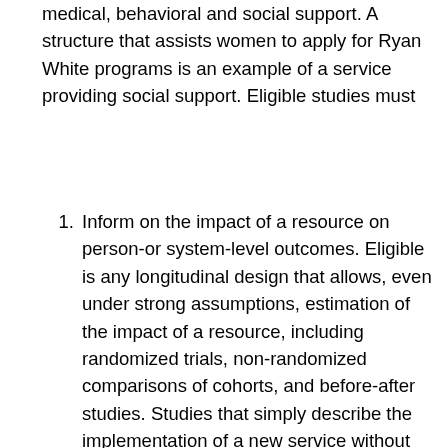medical, behavioral and social support. A structure that assists women to apply for Ryan White programs is an example of a service providing social support. Eligible studies must
Inform on the impact of a resource on person-or system-level outcomes. Eligible is any longitudinal design that allows, even under strong assumptions, estimation of the impact of a resource, including randomized trials, non-randomized comparisons of cohorts, and before-after studies. Studies that simply describe the implementation of a new service without any assessment of its impact on person- or system-level outcomes are not eligible.
Alternatively, assess modifiers of initial or continued engagement with a resource (as defined by the authors). Eligible are cohort, case- [Back to Top] sectional studies assessing the association